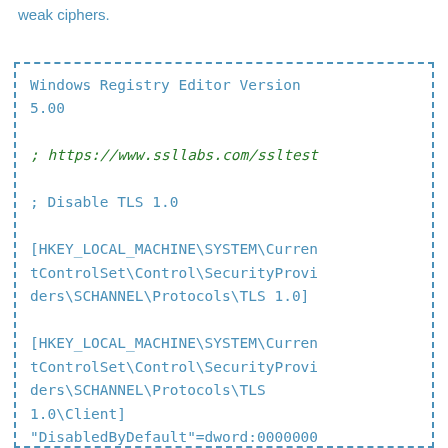weak ciphers.
Windows Registry Editor Version 5.00

; https://www.ssllabs.com/ssltest

; Disable TLS 1.0

[HKEY_LOCAL_MACHINE\SYSTEM\CurrentControlSet\Control\SecurityProviders\SCHANNEL\Protocols\TLS 1.0]

[HKEY_LOCAL_MACHINE\SYSTEM\CurrentControlSet\Control\SecurityProviders\SCHANNEL\Protocols\TLS 1.0\Client]
"DisabledByDefault"=dword:00000000